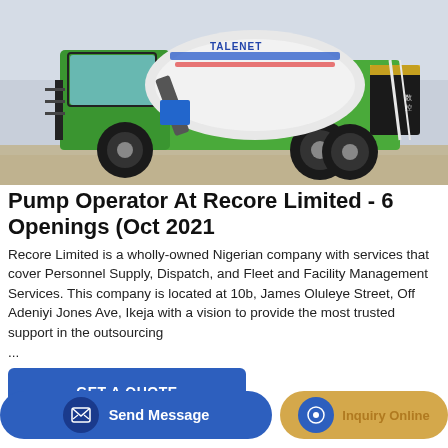[Figure (photo): Green and black concrete mixer truck (TALENET brand) parked on a sandy/dusty surface, photographed from side angle showing mixing drum, cab, and wheels.]
Pump Operator At Recore Limited - 6 Openings (Oct 2021
Recore Limited is a wholly-owned Nigerian company with services that cover Personnel Supply, Dispatch, and Fleet and Facility Management Services. This company is located at 10b, James Oluleye Street, Off Adeniyi Jones Ave, Ikeja with a vision to provide the most trusted support in the outsourcing
...
GET A QUOTE
Send Message
Inquiry Online